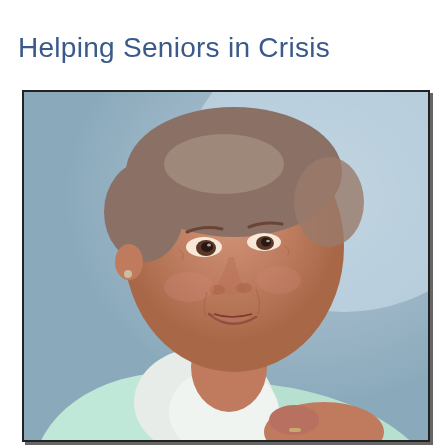Helping Seniors in Crisis
[Figure (photo): Close-up photo of an elderly woman smiling, wearing a light mint/aqua colored top with a white collar, with gray-brown hair, against a soft blue-gray blurred background. She is looking slightly downward with a warm smile.]